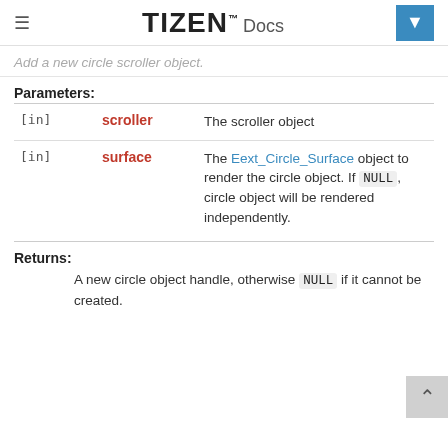TIZEN Docs
Add a new circle scroller object.
Parameters:
| Direction | Name | Description |
| --- | --- | --- |
| [in] | scroller | The scroller object |
| [in] | surface | The Eext_Circle_Surface object to render the circle object. If NULL, circle object will be rendered independently. |
Returns:
A new circle object handle, otherwise NULL if it cannot be created.